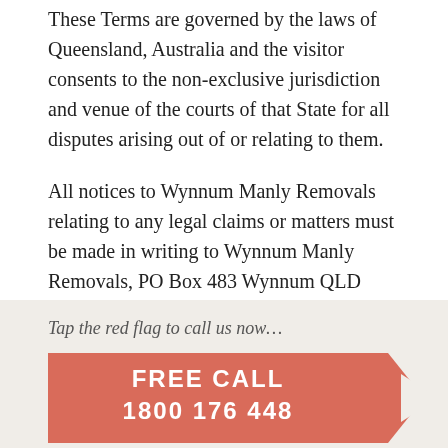These Terms are governed by the laws of Queensland, Australia and the visitor consents to the non-exclusive jurisdiction and venue of the courts of that State for all disputes arising out of or relating to them.
All notices to Wynnum Manly Removals relating to any legal claims or matters must be made in writing to Wynnum Manly Removals, PO Box 483 Wynnum QLD 4178. Wynnum Manly Removals may send electronic mail for any notice or notification.
Tap the red flag to call us now…
[Figure (infographic): Red banner/flag shape with white text reading FREE CALL 1800 176 448, with an arrow notch cutout on the right side]